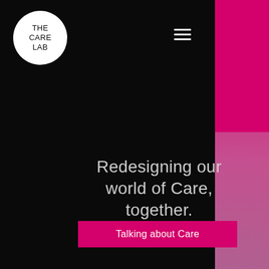[Figure (logo): The Care Lab logo: white circle with text 'THE CARE LAB' in black]
Redesigning our world of Care, together.
Talking about Care